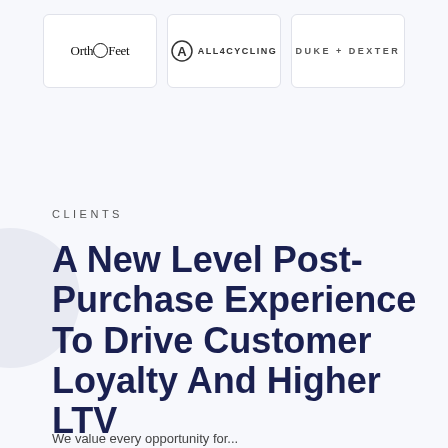[Figure (logo): Three brand logos in white boxes: OrthoFeet, All4Cycling, Duke + Dexter]
CLIENTS
A New Level Post-Purchase Experience To Drive Customer Loyalty And Higher LTV
We value every opportunity for...